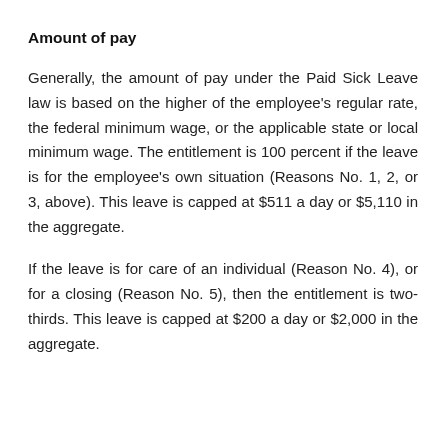Amount of pay
Generally, the amount of pay under the Paid Sick Leave law is based on the higher of the employee's regular rate, the federal minimum wage, or the applicable state or local minimum wage. The entitlement is 100 percent if the leave is for the employee's own situation (Reasons No. 1, 2, or 3, above). This leave is capped at $511 a day or $5,110 in the aggregate.
If the leave is for care of an individual (Reason No. 4), or for a closing (Reason No. 5), then the entitlement is two-thirds. This leave is capped at $200 a day or $2,000 in the aggregate.